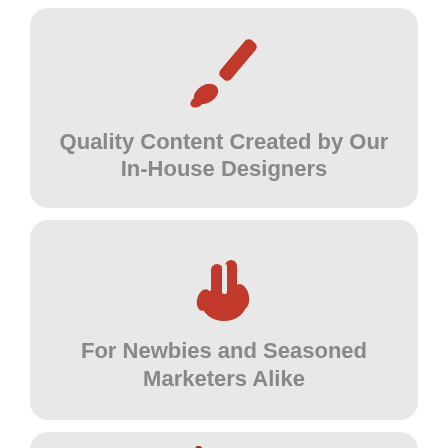[Figure (illustration): Red paintbrush icon tilted diagonally]
Quality Content Created by Our In-House Designers
[Figure (illustration): Red peace/victory hand sign icon]
For Newbies and Seasoned Marketers Alike
[Figure (illustration): Red pencil icon tilted diagonally, partially visible]